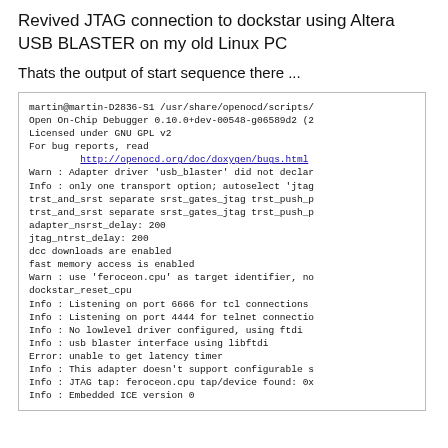Revived JTAG connection to dockstar using Altera USB BLASTER on my old Linux PC
Thats the output of start sequence there ...
[Figure (screenshot): Terminal output showing OpenOCD JTAG connection startup log with warnings, info messages, and errors related to usb_blaster and feroceon.cpu]